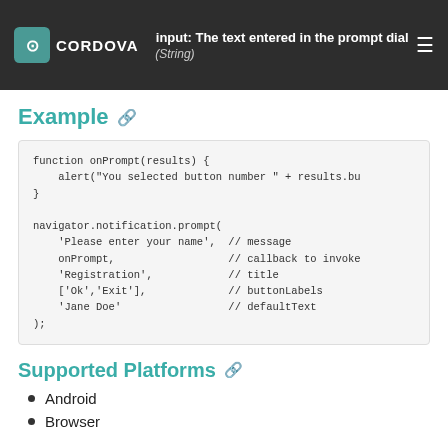input: The text entered in the prompt dialog box (String)
Example
function onPrompt(results) {
    alert("You selected button number " + results.bu
}

navigator.notification.prompt(
    'Please enter your name',  // message
    onPrompt,                  // callback to invoke
    'Registration',            // title
    ['Ok','Exit'],             // buttonLabels
    'Jane Doe'                 // defaultText
);
Supported Platforms
Android
Browser